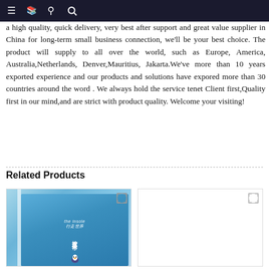≡  [icon]  🔍
a high quality, quick delivery, very best after support and great value supplier in China for long-term small business connection, we'll be your best choice. The product will supply to all over the world, such as Europe, America, Australia,Netherlands, Denver,Mauritius, Jakarta.We've more than 10 years exported experience and our products and solutions have expored more than 30 countries around the word . We always hold the service tenet Client first,Quality first in our mind,and are strict with product quality. Welcome your visiting!
Related Products
[Figure (photo): A blue notebook/book with Chinese text on the cover, against a blue background]
[Figure (photo): White/blank product image placeholder]